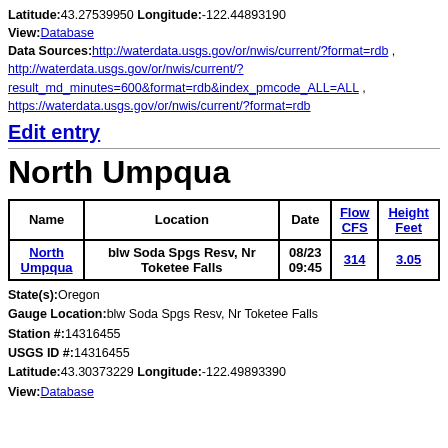Latitude:43.27539950 Longitude:-122.44893190
View:Database
Data Sources:http://waterdata.usgs.gov/or/nwis/current/?format=rdb , http://waterdata.usgs.gov/or/nwis/current/?result_md_minutes=600&format=rdb&index_pmcode_ALL=ALL , https://waterdata.usgs.gov/or/nwis/current/?format=rdb
Edit entry
North Umpqua
| Name | Location | Date | Flow CFS | Height Feet |
| --- | --- | --- | --- | --- |
| North Umpqua | blw Soda Spgs Resv, Nr Toketee Falls | 08/23 09:45 | 314 | 3.05 |
State(s):Oregon
Gauge Location:blw Soda Spgs Resv, Nr Toketee Falls
Station #:14316455
USGS ID #:14316455
Latitude:43.30373229 Longitude:-122.49893390
View:Database